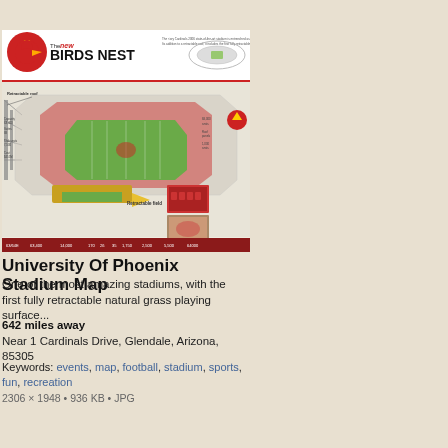[Figure (infographic): Infographic titled 'The new BIRDS NEST' showing a cutaway diagram of University of Phoenix Stadium with the Arizona Cardinals logo, a retractable roof, retractable natural grass field being rolled out, stadium seating, and capacity/statistics bar at the bottom. Includes small inset photos of stadium seats and a suite.]
University Of Phoenix Stadium Map
One of the most amazing stadiums, with the first fully retractable natural grass playing surface...
642 miles away
Near 1 Cardinals Drive, Glendale, Arizona, 85305
Keywords: events, map, football, stadium, sports, fun, recreation
2306 × 1948 • 936 KB • JPG